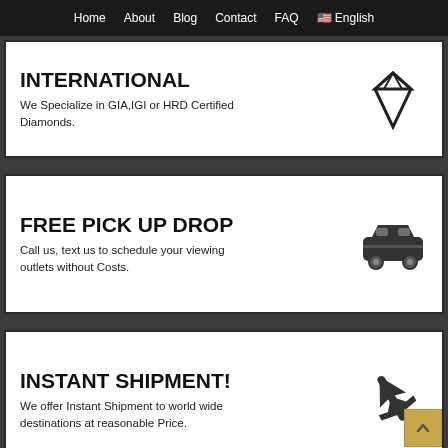Home  About  Blog  Contact  FAQ  🇺🇸 English
INTERNATIONAL
We Specialize in GIA,IGI or HRD Certified Diamonds.
[Figure (illustration): Diamond gem icon outline]
FREE PICK UP DROP
Call us, text us to schedule your viewing outlets without Costs.
[Figure (illustration): Car/automobile icon]
INSTANT SHIPMENT!
We offer Instant Shipment to world wide destinations at reasonable Price.
[Figure (illustration): Airplane icon pointing upper right]